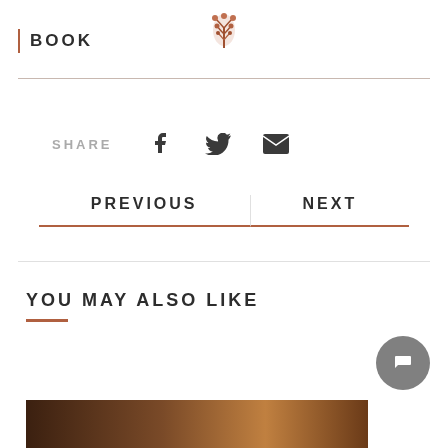BOOK
[Figure (logo): Decorative coral/tree logo icon in rose-gold/copper color]
SHARE
[Figure (infographic): Social share icons: Facebook, Twitter, Email]
PREVIOUS
NEXT
YOU MAY ALSO LIKE
[Figure (photo): Partial preview image of a dark-toned photograph at the bottom of the page]